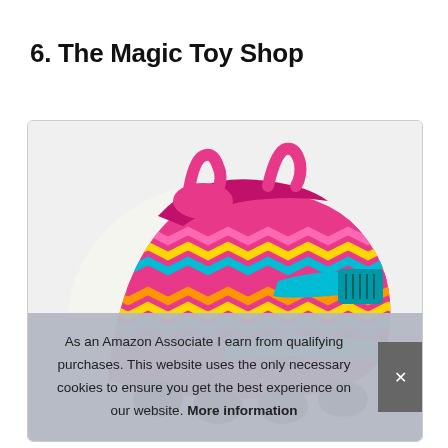6. The Magic Toy Shop
[Figure (photo): Close-up photo of a pink and teal children's inline skate/rollerblade with colorful zigzag pattern, pink padding, teal velcro strap, showing the upper boot portion against a light background.]
As an Amazon Associate I earn from qualifying purchases. This website uses the only necessary cookies to ensure you get the best experience on our website. More information